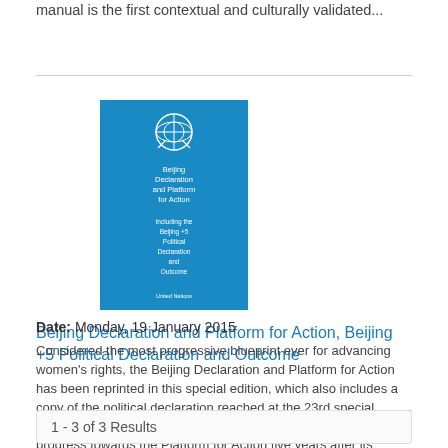manual is the first contextual and culturally validated...
[Figure (photo): Book cover of Beijing Declaration and Platform for Action, Beijing +5 Political Declaration and Outcome — blue cover with UN emblem]
Beijing Declaration and Platform for Action, Beijing +5 Political Declaration and Outcome
Date: Monday, 19 January 2015
Considered the most progressive blueprint ever for advancing women's rights, the Beijing Declaration and Platform for Action has been reprinted in this special edition, which also includes a copy of the political declaration reached at the 23rd special session of the General Assembly in 2000, which reviewed progress towards the Platform for Action five years after its adoption.
1 - 3 of 3 Results